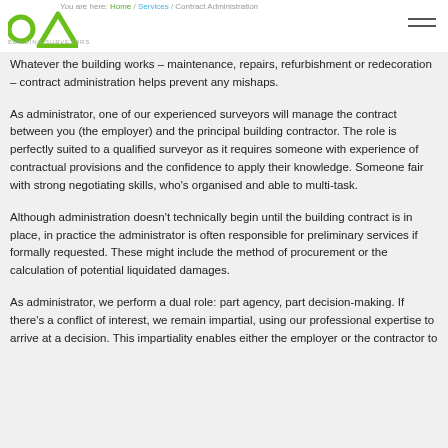You are here: Home / Services / Contract Administration
[Figure (logo): OA Building Surveyors logo — green circle and triangle forming 'OA' letters]
Whatever the building works – maintenance, repairs, refurbishment or redecoration – contract administration helps prevent any mishaps.
As administrator, one of our experienced surveyors will manage the contract between you (the employer) and the principal building contractor. The role is perfectly suited to a qualified surveyor as it requires someone with experience of contractual provisions and the confidence to apply their knowledge. Someone fair with strong negotiating skills, who's organised and able to multi-task.
Although administration doesn't technically begin until the building contract is in place, in practice the administrator is often responsible for preliminary services if formally requested. These might include the method of procurement or the calculation of potential liquidated damages.
As administrator, we perform a dual role: part agency, part decision-making. If there's a conflict of interest, we remain impartial, using our professional expertise to arrive at a decision. This impartiality enables either the employer or the contractor to